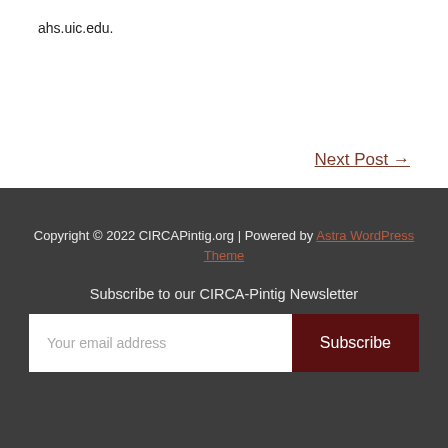ahs.uic.edu.
Next Post →
Copyright © 2022 CIRCAPintig.org | Powered by Astra WordPress Theme
Subscribe to our CIRCA-Pintig Newsletter
Your email address
Subscribe